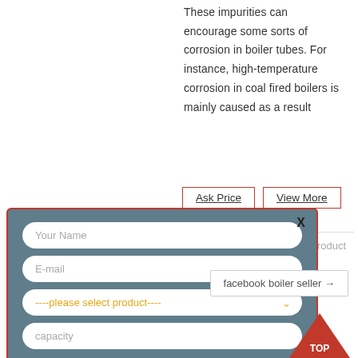These impurities can encourage some sorts of corrosion in boiler tubes. For instance, high-temperature corrosion in coal fired boilers is mainly caused as a result
[Figure (screenshot): Two buttons: 'Ask Price' and 'View More' with orange-red borders, and a modal dialog overlaid on the page with form fields: Your Name, E-mail, a product dropdown, capacity field, and a SUBMIT button. Below is a 'facebook boiler seller' link box and a red TOP back-to-top button.]